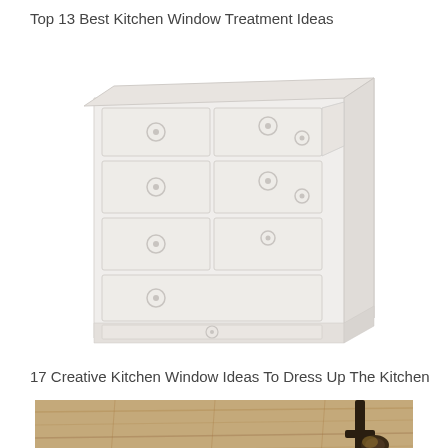Top 13 Best Kitchen Window Treatment Ideas
[Figure (photo): A white wooden dresser with multiple drawers and round ring pulls, shown at an angle on a white background]
17 Creative Kitchen Window Ideas To Dress Up The Kitchen
[Figure (photo): A kitchen interior showing wooden ceiling/upper view with industrial-style wall lamp/sconce, warm wood tones]